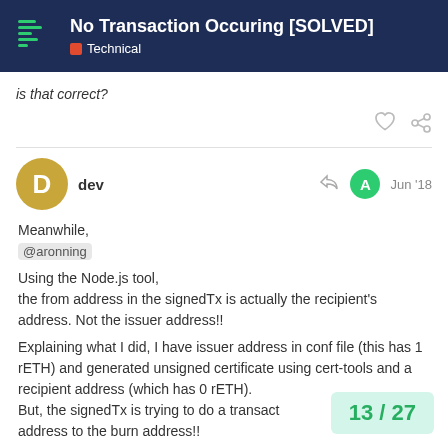No Transaction Occuring [SOLVED] — Technical
is that correct?
dev — Jun '18
Meanwhile,
@aronning

Using the Node.js tool,
the from address in the signedTx is actually the recipient's address. Not the issuer address!!

Explaining what I did, I have issuer address in conf file (this has 1 rETH) and generated unsigned certificate using cert-tools and a recipient address (which has 0 rETH).
But, the signedTx is trying to do a transaction from the recipient address to the burn address!!
13 / 27